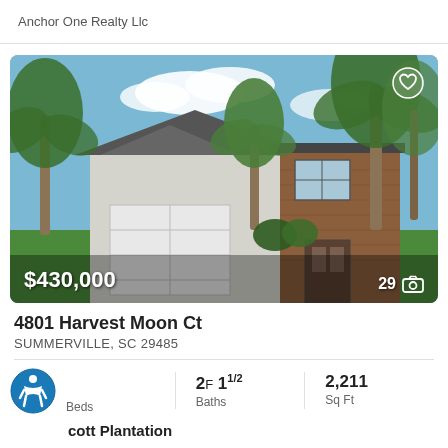Anchor One Realty Llc
[Figure (photo): Two-story house with white siding and brick accents, two-car garage, palm trees in front yard, green lawn, blue sky with clouds. Price overlay: $430,000. Photo count: 29.]
4801 Harvest Moon Ct
SUMMERVILLE, SC 29485
cott Plantation
2F 1 1/2
Baths
2,211
Sq Ft